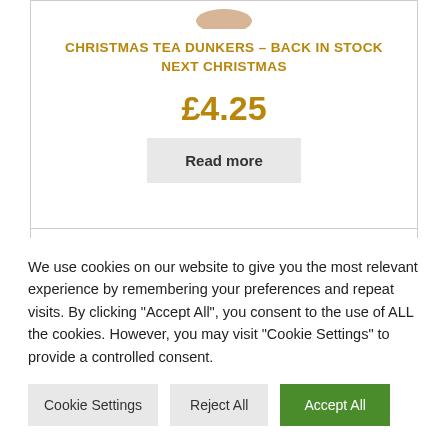CHRISTMAS TEA DUNKERS – BACK IN STOCK NEXT CHRISTMAS
£4.25
Read more
We use cookies on our website to give you the most relevant experience by remembering your preferences and repeat visits. By clicking "Accept All", you consent to the use of ALL the cookies. However, you may visit "Cookie Settings" to provide a controlled consent.
Cookie Settings
Reject All
Accept All